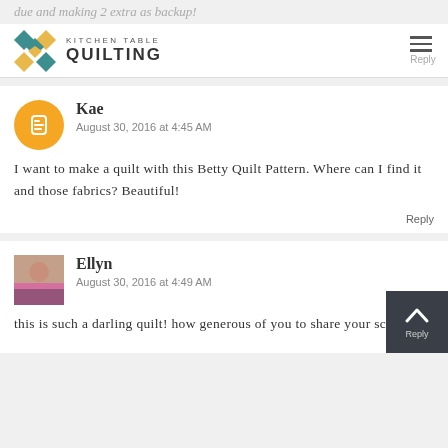due and making 2 extra as backup!
Kitchen Table Quilting
Kae
August 30, 2016 at 4:45 AM
I want to make a quilt with this Betty Quilt Pattern. Where can I find it and those fabrics? Beautiful!
Ellyn
August 30, 2016 at 4:49 AM
this is such a darling quilt! how generous of you to share your scraps